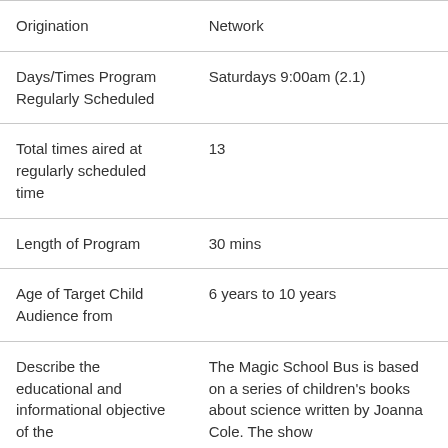| Field | Value |
| --- | --- |
| Origination | Network |
| Days/Times Program Regularly Scheduled | Saturdays 9:00am (2.1) |
| Total times aired at regularly scheduled time | 13 |
| Length of Program | 30 mins |
| Age of Target Child Audience from | 6 years to 10 years |
| Describe the educational and informational objective of the | The Magic School Bus is based on a series of children's books about science written by Joanna Cole. The show |